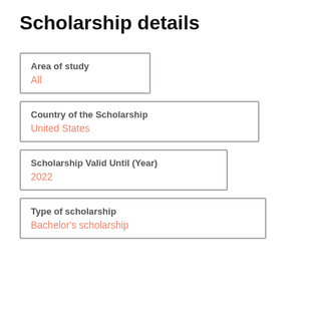Scholarship details
Area of study
All
Country of the Scholarship
United States
Scholarship Valid Until (Year)
2022
Type of scholarship
Bachelor's scholarship